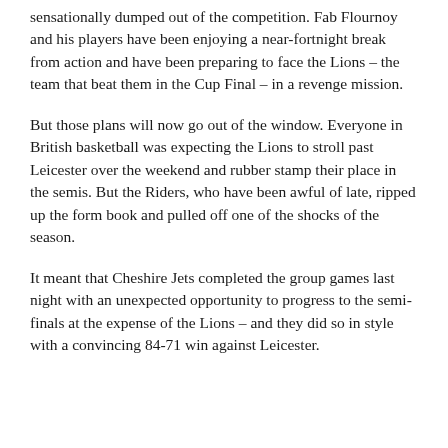sensationally dumped out of the competition. Fab Flournoy and his players have been enjoying a near-fortnight break from action and have been preparing to face the Lions – the team that beat them in the Cup Final – in a revenge mission.
But those plans will now go out of the window. Everyone in British basketball was expecting the Lions to stroll past Leicester over the weekend and rubber stamp their place in the semis. But the Riders, who have been awful of late, ripped up the form book and pulled off one of the shocks of the season.
It meant that Cheshire Jets completed the group games last night with an unexpected opportunity to progress to the semi-finals at the expense of the Lions – and they did so in style with a convincing 84-71 win against Leicester.